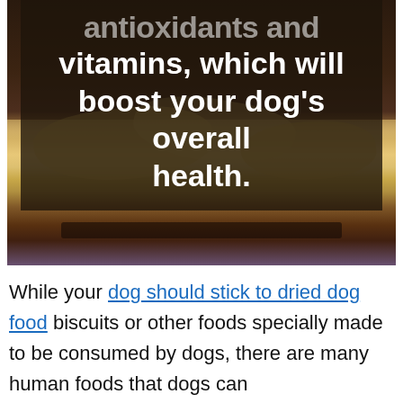[Figure (photo): Photo of food items (tortilla chips/wonton wrappers) on a dark plate, with a dark semi-transparent overlay containing bold white text reading '...antioxidants and vitamins, which will boost your dog's overall health.']
While your dog should stick to dried dog food biscuits or other foods specially made to be consumed by dogs, there are many human foods that dogs can